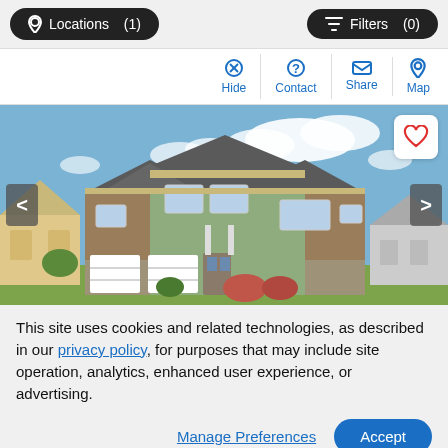Locations (1)   Filters (0)
[Figure (screenshot): Action bar with Hide, Contact, Share, Map buttons in blue]
[Figure (photo): Two-story craftsman-style house with blue-green siding, brown stone accents, three-car garage, blue sky with clouds]
This site uses cookies and related technologies, as described in our privacy policy, for purposes that may include site operation, analytics, enhanced user experience, or advertising.
Manage Preferences   Accept